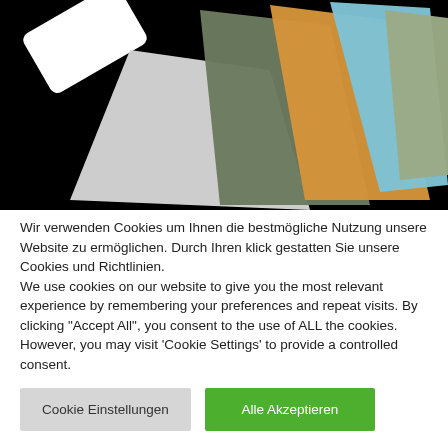[Figure (photo): Photo of several flat rectangular material samples (cards/sheets) fanned out on a black background. Colors include white, light gray, olive/dark green, orange/tan, sky blue, and sage green.]
Wir verwenden Cookies um Ihnen die bestmögliche Nutzung unsere Website zu ermöglichen. Durch Ihren klick gestatten Sie unsere Cookies und Richtlinien.
We use cookies on our website to give you the most relevant experience by remembering your preferences and repeat visits. By clicking "Accept All", you consent to the use of ALL the cookies. However, you may visit 'Cookie Settings' to provide a controlled consent.
Cookie Einstellungen
Alle Akzeptieren